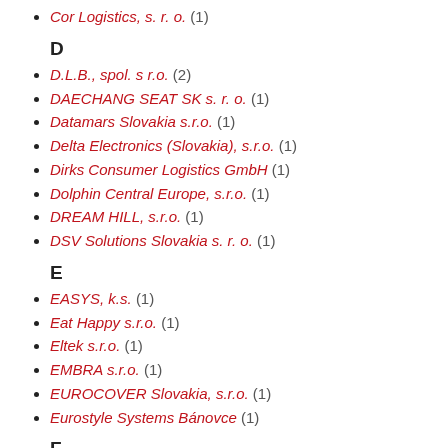Cor Logistics, s. r. o.  (1)
D
D.L.B., spol. s r.o.  (2)
DAECHANG SEAT SK s. r. o.  (1)
Datamars Slovakia s.r.o.  (1)
Delta Electronics (Slovakia), s.r.o.  (1)
Dirks Consumer Logistics GmbH  (1)
Dolphin Central Europe, s.r.o.  (1)
DREAM HILL, s.r.o.  (1)
DSV Solutions Slovakia s. r. o.  (1)
E
EASYS, k.s.  (1)
Eat Happy s.r.o.  (1)
Eltek s.r.o.  (1)
EMBRA s.r.o.  (1)
EUROCOVER Slovakia, s.r.o.  (1)
Eurostyle Systems Bánovce  (1)
F
FABU Transport GmbH  (1)